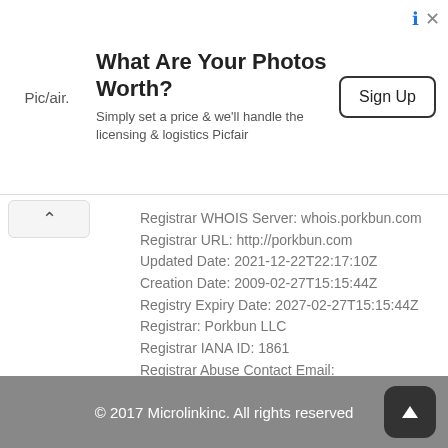[Figure (other): Advertisement banner: Pic/air. logo on left, heading 'What Are Your Photos Worth?', subtext 'Simply set a price & we'll handle the licensing & logistics Picfair', Sign Up button on right]
Registrar WHOIS Server: whois.porkbun.com
Registrar URL: http://porkbun.com
Updated Date: 2021-12-22T22:17:10Z
Creation Date: 2009-02-27T15:15:44Z
Registry Expiry Date: 2027-02-27T15:15:44Z
Registrar: Porkbun LLC
Registrar IANA ID: 1861
Registrar Abuse Contact Email: abuse@porkbun.com
Registrar Abuse Contact Phone: 5038508351
Domain Status: clientDeleteProhibited
https://icann.org/epp#clientDeleteProhibited
Domain Status: clientTransferProhibited
https://icann.org/epp#clientTransferProhibited
© 2017 Microlinkinc. All rights reserved